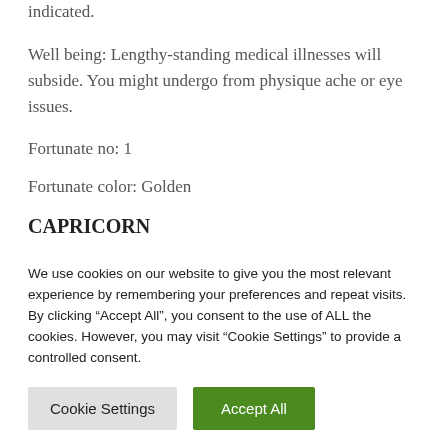indicated.
Well being: Lengthy-standing medical illnesses will subside. You might undergo from physique ache or eye issues.
Fortunate no: 1
Fortunate color: Golden
CAPRICORN
We use cookies on our website to give you the most relevant experience by remembering your preferences and repeat visits. By clicking “Accept All”, you consent to the use of ALL the cookies. However, you may visit “Cookie Settings” to provide a controlled consent.